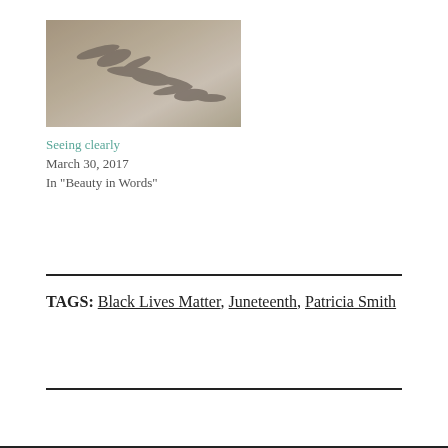[Figure (photo): Photo of birds in flight against a muted brown/taupe background]
Seeing clearly
March 30, 2017
In "Beauty in Words"
TAGS: Black Lives Matter, Juneteenth, Patricia Smith